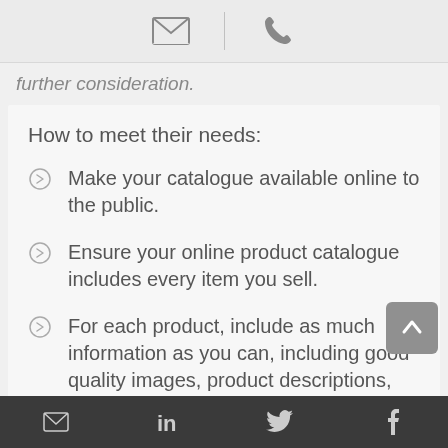[Figure (screenshot): Top navigation bar with email/envelope icon and phone icon separated by a vertical divider, on light grey background]
further consideration.
How to meet their needs:
Make your catalogue available online to the public.
Ensure your online product catalogue includes every item you sell.
For each product, include as much information as you can, including good quality images, product descriptions,
[Figure (screenshot): Bottom navigation bar (dark grey) with email, LinkedIn, Twitter, and Facebook icons]
[Figure (screenshot): Scroll to top button (grey rounded square with upward arrow)]